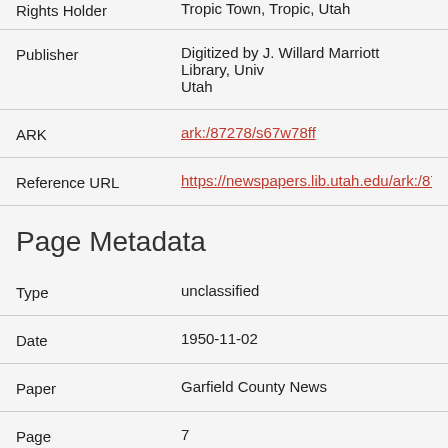Rights Holder: Tropic Town, Tropic, Utah (partial, cropped at top)
Publisher: Digitized by J. Willard Marriott Library, University of Utah
ARK: ark:/87278/s67w78ff
Reference URL: https://newspapers.lib.utah.edu/ark:/87278/...
Page Metadata
Type: unclassified
Date: 1950-11-02
Paper: Garfield County News
Page: 7